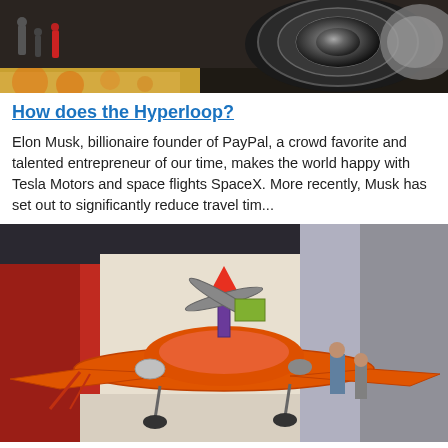[Figure (photo): Close-up photo of a jet engine turbine with people walking on a reflective floor in the background. Indoor aviation exhibit setting.]
How does the Hyperloop?
Elon Musk, billionaire founder of PayPal, a crowd favorite and talented entrepreneur of our time, makes the world happy with Tesla Motors and space flights SpaceX. More recently, Musk has set out to significantly reduce travel tim...
[Figure (photo): An orange model aircraft or drone on display at an indoor exhibition. The model has an orange fuselage, propeller on top, and landing gear. People and red/white interior visible in background.]
Russian tiltrotor will show in 2019